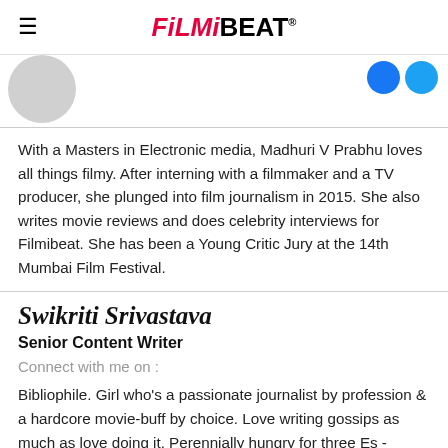FilmiBEAT
With a Masters in Electronic media, Madhuri V Prabhu loves all things filmy. After interning with a filmmaker and a TV producer, she plunged into film journalism in 2015. She also writes movie reviews and does celebrity interviews for Filmibeat. She has been a Young Critic Jury at the 14th Mumbai Film Festival.
Swikriti Srivastava
Senior Content Writer
Connect with me on :
Bibliophile. Girl who's a passionate journalist by profession & a hardcore movie-buff by choice. Love writing gossips as much as love doing it. Perennially hungry for three Es - Entertainment, Entertainment & Entertainment. Swears by food.
Sumit Rajguru